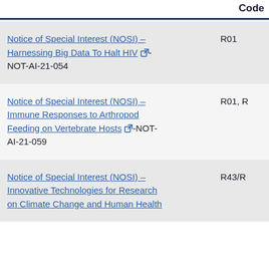|  | Code |
| --- | --- |
| Notice of Special Interest (NOSI) – Harnessing Big Data To Halt HIV [ext]-NOT-AI-21-054 | R01 |
| Notice of Special Interest (NOSI) – Immune Responses to Arthropod Feeding on Vertebrate Hosts [ext]-NOT-AI-21-059 | R01, R |
| Notice of Special Interest (NOSI) – Innovative Technologies for Research on Climate Change and Human Health | R43/R |